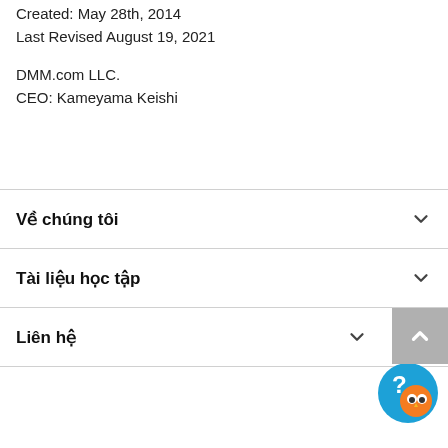Created: May 28th, 2014
Last Revised August 19, 2021
DMM.com LLC.
CEO: Kameyama Keishi
Về chúng tôi
Tài liệu học tập
Liên hệ